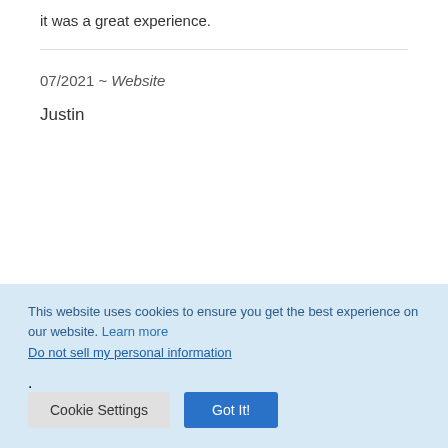it was a great experience.
07/2021 ~ Website
Justin
This website uses cookies to ensure you get the best experience on our website. Learn more
Do not sell my personal information.
Cookie Settings
Got It!